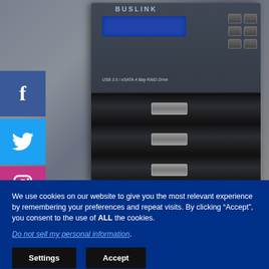[Figure (photo): USB 3.0/eSATA 4 Bay RAID Drive tower device (dark gray/black enclosure with multiple drive bays with handles, LCD display, and control buttons), with social media sidebar icons (Facebook, Twitter, Instagram) on the left]
We use cookies on our website to give you the most relevant experience by remembering your preferences and repeat visits. By clicking “Accept”, you consent to the use of ALL the cookies.
Do not sell my personal information.
Settings
Accept